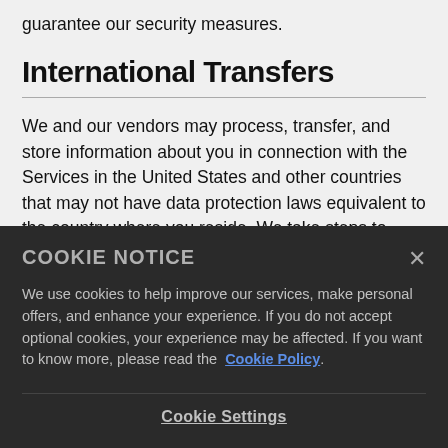guarantee our security measures.
International Transfers
We and our vendors may process, transfer, and store information about you in connection with the Services in the United States and other countries that may not have data protection laws equivalent to the country where you reside. We take steps to
COOKIE NOTICE
We use cookies to help improve our services, make personal offers, and enhance your experience. If you do not accept optional cookies, your experience may be affected. If you want to know more, please read the Cookie Policy.
Cookie Settings